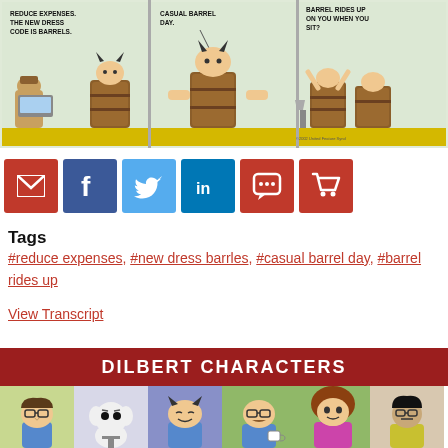[Figure (illustration): Three-panel Dilbert comic strip. Panel 1: Boss tells Dilbert 'REDUCE EXPENSES. THE NEW DRESS CODE IS BARRELS.' Panel 2: Character in barrel says 'CASUAL BARREL DAY.' Panel 3: Character in barrel with others, caption 'BARREL RIDES UP ON YOU WHEN YOU SIT?']
[Figure (infographic): Row of six social sharing buttons: red email envelope, dark blue Facebook f, light blue Twitter bird, blue LinkedIn in, red speech bubble (comment), red shopping cart.]
Tags
#reduce expenses, #new dress barrles, #casual barrel day, #barrel rides up
View Transcript
DILBERT CHARACTERS
[Figure (photo): Row of six Dilbert character thumbnail images at the bottom of the page.]